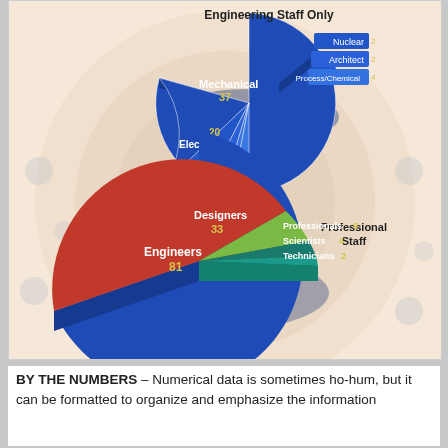[Figure (pie-chart): Engineering Staff Only / Professional Staff]
BY THE NUMBERS – Numerical data is sometimes ho-hum, but it can be formatted to organize and emphasize the information